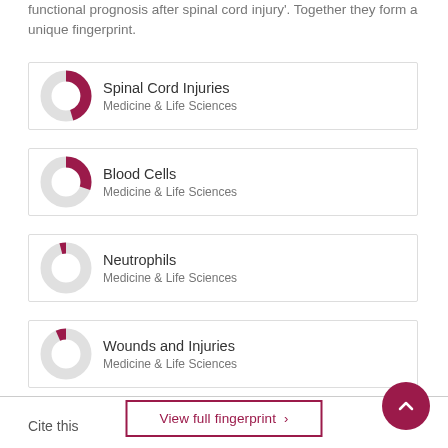functional prognosis after spinal cord injury'. Together they form a unique fingerprint.
[Figure (donut-chart): Donut chart for Spinal Cord Injuries, approximately 70% filled in dark red]
[Figure (donut-chart): Donut chart for Blood Cells, approximately 55% filled in dark red]
[Figure (donut-chart): Donut chart for Neutrophils, approximately 20% filled in dark red]
[Figure (donut-chart): Donut chart for Wounds and Injuries, approximately 20% filled in dark red]
View full fingerprint >
Cite this